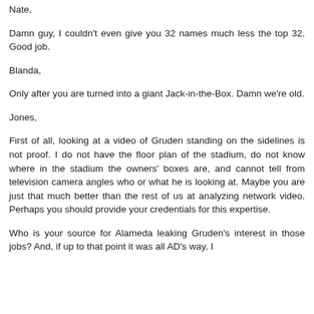Nate,
Damn guy, I couldn't even give you 32 names much less the top 32. Good job.
Blanda,
Only after you are turned into a giant Jack-in-the-Box. Damn we're old.
Jones,
First of all, looking at a video of Gruden standing on the sidelines is not proof. I do not have the floor plan of the stadium, do not know where in the stadium the owners' boxes are, and cannot tell from television camera angles who or what he is looking at. Maybe you are just that much better than the rest of us at analyzing network video. Perhaps you should provide your credentials for this expertise.
Who is your source for Alameda leaking Gruden's interest in those jobs? And, if up to that point it was all AD's way, I